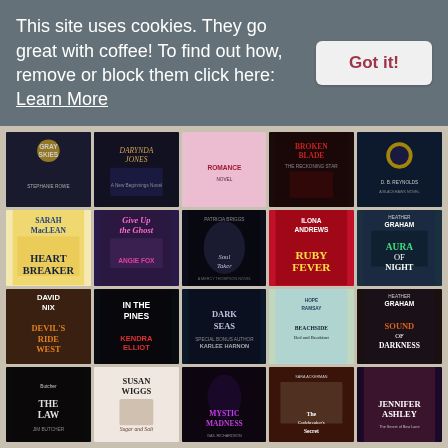This site uses cookies. They go great with coffee! To find out how, remove or block them click here: Learn More
[Figure (other): Grid of 20 book covers arranged in 4 rows and 5 columns, showing titles including Gray Skies, Darynda Jones, Patricia Briggs Soul Taker, Broken Blade, Ilona Andrews Ruby Fever, Heather Graham Aura of Night, Sarah MacLean Heart Breaker, Give Up the Ghost by Angie Fox, Dark Seas by Karlee Harnon, Hope Ramsay Beachside Bed and Breakfast, Heather Graham Sound of Darkness, David Nix Devil's Ride West, In the Pines by Kendra Elliot, The Law by Jim Butcher, Susan Wiggs Sugar and Salt, Mystic Madness, The Codebreaker's Secret, Jennifer Ashley The Secret of Bow Lane]